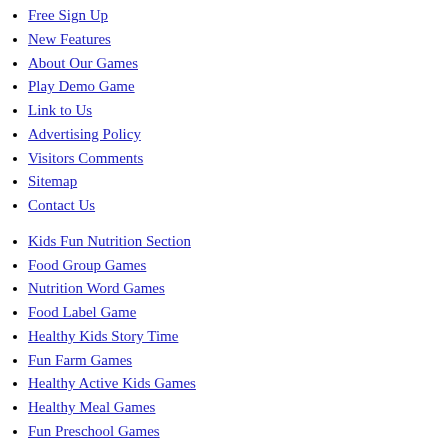Free Sign Up
New Features
About Our Games
Play Demo Game
Link to Us
Advertising Policy
Visitors Comments
Sitemap
Contact Us
Kids Fun Nutrition Section
Food Group Games
Nutrition Word Games
Food Label Game
Healthy Kids Story Time
Fun Farm Games
Healthy Active Kids Games
Healthy Meal Games
Fun Preschool Games
Fun Arts and Crafts
Promoting Fun Exercise
Parents' Healthy Eating Section
Family Nutrition Blog
Printable Family Nutrition Tips
Daily Health Tip Calendar